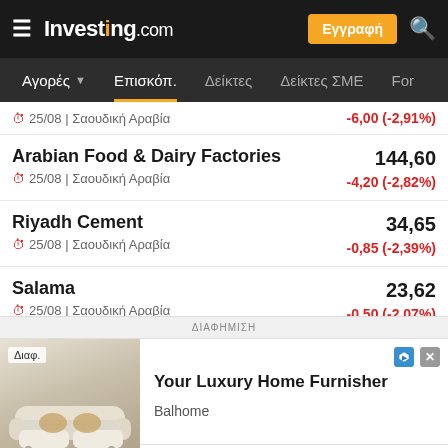Investing.com — Αγορές / Επισκόπηση / Δείκτες / Δείκτες ΣΜΕ / For
25/08 | Σαουδική Αραβία — -6,00 (-2,91%)
Arabian Food & Dairy Factories 144,60
25/08 | Σαουδική Αραβία -4,20 (-2,82%)
Riyadh Cement 34,65
25/08 | Σαουδική Αραβία -0,85 (-2,39%)
Salama 23,62
25/08 | Σαουδική Αραβία -0,50 (-2,07%)
ΔΙΑΦΗΜΙΣΗ
[Figure (photo): Advertisement for Balhome luxury home furnisher — sofa image on left, text 'Your Luxury Home Furnisher' and 'Balhome' on right, with Open button]